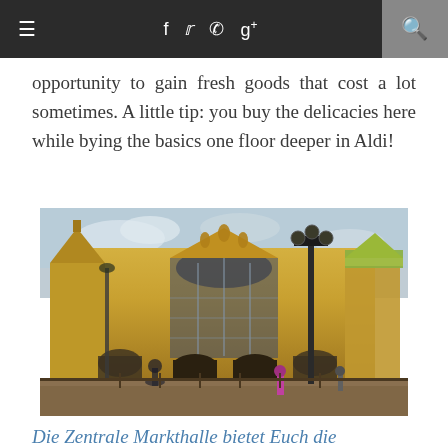≡  f  𝕥  📷  g+  🔍
opportunity to gain fresh goods that cost a lot sometimes. A little tip: you buy the delicacies here while bying the basics one floor deeper in Aldi!
[Figure (photo): Exterior facade of the Zentrale Markthalle (Central Market Hall) in Budapest, a large ornate historic building with yellow stone, arched windows, decorative towers, and colorful tiled roof. A black lamp post stands in the foreground. People are visible in front of the building.]
Die Zentrale Markthalle bietet Euch die